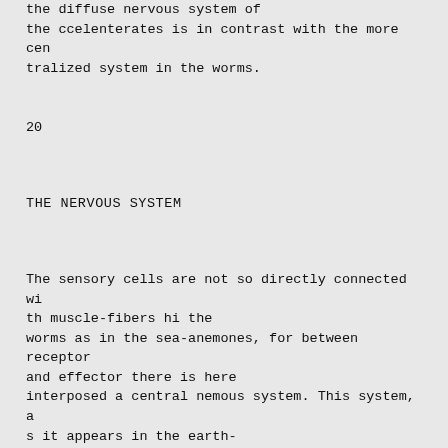the diffuse nervous system of the ccelenterates is in contrast with the more centralized system in the worms.
20
THE NERVOUS SYSTEM
The sensory cells are not so directly connected with muscle-fibers hi the worms as in the sea-anemones, for between receptor and effector there is here interposed a central nemous system. This system, as it appears in the earth-worm, is illustrated in Fig. 2. It consists of a cerebral ganglion dorsal to the buccal cavity and a row of ventrally placed ga a bound together by a ventral nerve cord. The most anterior of the ventral serie